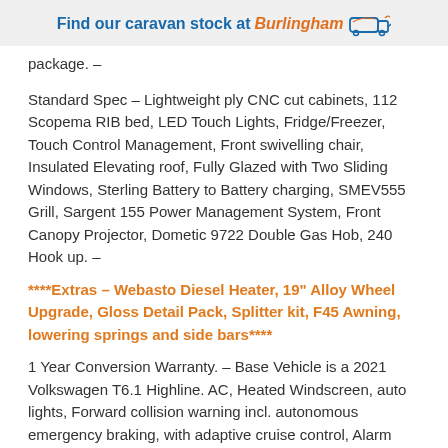Find our caravan stock at Burlingham
package. –
Standard Spec – Lightweight ply CNC cut cabinets, 112 Scopema RIB bed, LED Touch Lights, Fridge/Freezer, Touch Control Management, Front swivelling chair, Insulated Elevating roof, Fully Glazed with Two Sliding Windows, Sterling Battery to Battery charging, SMEV555 Grill, Sargent 155 Power Management System, Front Canopy Projector, Dometic 9722 Double Gas Hob, 240 Hook up. –
****Extras – Webasto Diesel Heater, 19" Alloy Wheel Upgrade, Gloss Detail Pack, Splitter kit, F45 Awning, lowering springs and side bars****
1 Year Conversion Warranty. – Base Vehicle is a 2021 Volkswagen T6.1 Highline. AC, Heated Windscreen, auto lights, Forward collision warning incl. autonomous emergency braking, with adaptive cruise control, Alarm